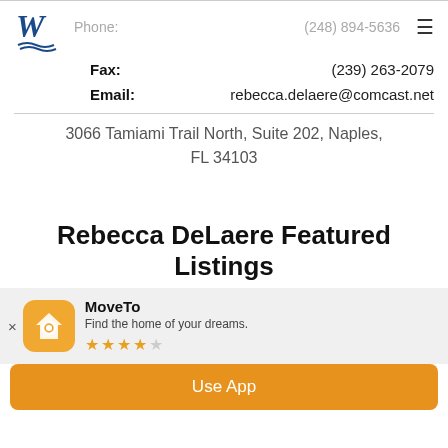W logo | Phone: (248) 894-5636 | hamburger menu
| Phone: | (248) 894-5636 |
| Fax: | (239) 263-2079 |
| Email: | rebecca.delaere@comcast.net |
3066 Tamiami Trail North, Suite 202, Naples, FL 34103
Rebecca DeLaere Featured Listings
[Figure (screenshot): MoveTo app banner with house/magnifier icon, 4-star rating, and Use App button]